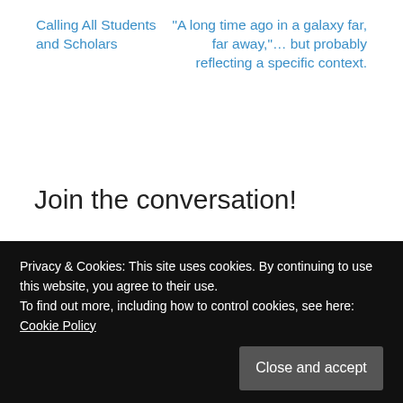Calling All Students and Scholars
“A long time ago in a galaxy far, far away,”… but probably reflecting a specific context.
Join the conversation!
Your email address will not be published. Required fields are marked *
Comment *
Privacy & Cookies: This site uses cookies. By continuing to use this website, you agree to their use.
To find out more, including how to control cookies, see here: Cookie Policy
Close and accept